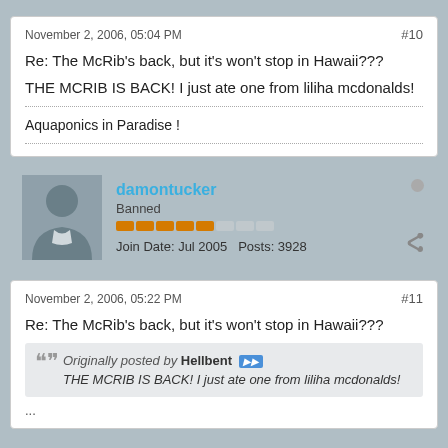November 2, 2006, 05:04 PM
#10
Re: The McRib's back, but it's won't stop in Hawaii???
THE MCRIB IS BACK! I just ate one from liliha mcdonalds!
Aquaponics in Paradise !
damontucker
Banned
Join Date: Jul 2005   Posts: 3928
November 2, 2006, 05:22 PM
#11
Re: The McRib's back, but it's won't stop in Hawaii???
Originally posted by Hellbent — THE MCRIB IS BACK! I just ate one from liliha mcdonalds!